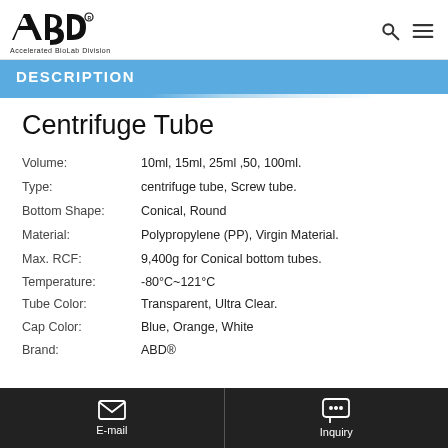ABD - Accelerated BioLab Division
DESCRIPTION
Centrifuge Tube
| Property | Value |
| --- | --- |
| Volume: | 10ml, 15ml, 25ml ,50, 100ml. |
| Type: | centrifuge tube, Screw tube. |
| Bottom Shape: | Conical, Round |
| Material: | Polypropylene (PP), Virgin Material. |
| Max. RCF: | 9,400g for Conical bottom tubes. |
| Temperature: | -80°C~121°C |
| Tube Color: | Transparent, Ultra Clear. |
| Cap Color: | Blue, Orange, White |
| Brand: | ABD® |
E-mail | Inquiry